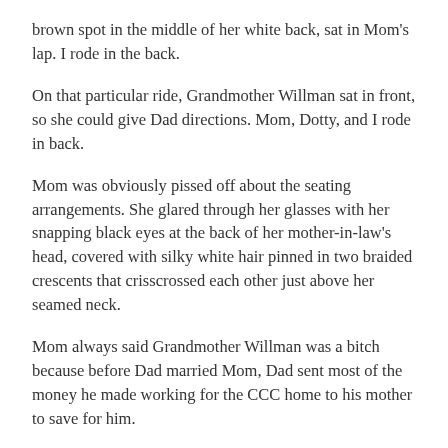brown spot in the middle of her white back, sat in Mom's lap. I rode in the back.
On that particular ride, Grandmother Willman sat in front, so she could give Dad directions. Mom, Dotty, and I rode in back.
Mom was obviously pissed off about the seating arrangements. She glared through her glasses with her snapping black eyes at the back of her mother-in-law's head, covered with silky white hair pinned in two braided crescents that crisscrossed each other just above her seamed neck.
Mom always said Grandmother Willman was a bitch because before Dad married Mom, Dad sent most of the money he made working for the CCC home to his mother to save for him.
Or so he thought until his wedding to Mom on 7/11/37, he asked his mother for his money, and Grandmother Willman said, “Money?